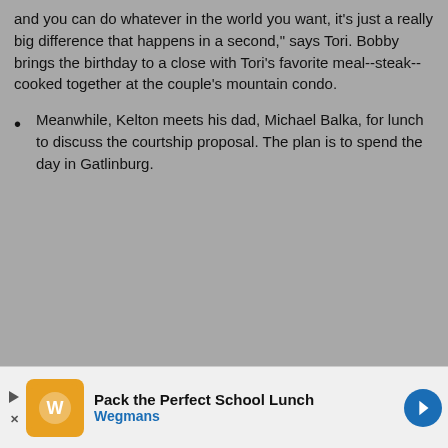and you can do whatever in the world you want, it's just a really big difference that happens in a second," says Tori. Bobby brings the birthday to a close with Tori's favorite meal--steak--cooked together at the couple's mountain condo.
Meanwhile, Kelton meets his dad, Michael Balka, for lunch to discuss the courtship proposal. The plan is to spend the day in Gatlinburg.
[Figure (infographic): Advertisement banner: Pack the Perfect School Lunch - Wegmans, with orange logo icon and blue arrow button]